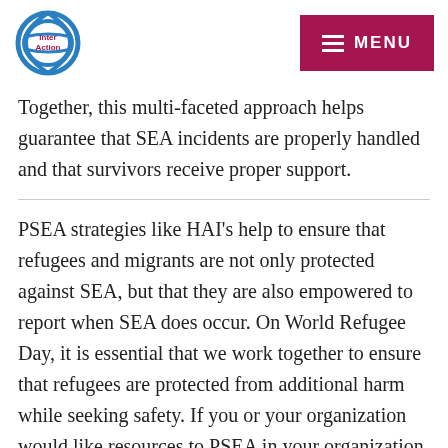InterAction | MENU
Together, this multi-faceted approach helps guarantee that SEA incidents are properly handled and that survivors receive proper support.
PSEA strategies like HAI's help to ensure that refugees and migrants are not only protected against SEA, but that they are also empowered to report when SEA does occur. On World Refugee Day, it is essential that we work together to ensure that refugees are protected from additional harm while seeking safety. If you or your organization would like resources to PSEA in your organization, please reach out to Meriwether Beatty or visit